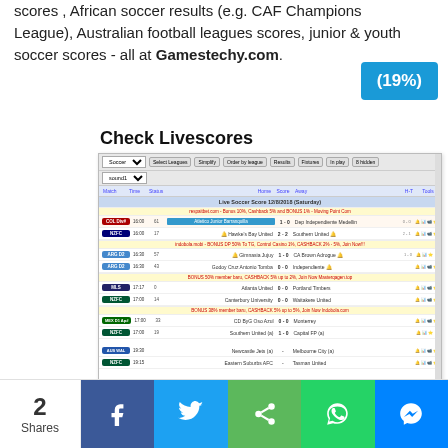scores , African soccer results (e.g. CAF Champions League), Australian football leagues scores, junior & youth soccer scores - all at Gamestechy.com.
(19%)
Check Livescores
[Figure (screenshot): Screenshot of a livescores website showing soccer match results with league tags, match times, home/away teams and scores for various leagues including COL, ARG, MLS, NZF, MEX, AUS WAL]
Click Here To -
2 Shares